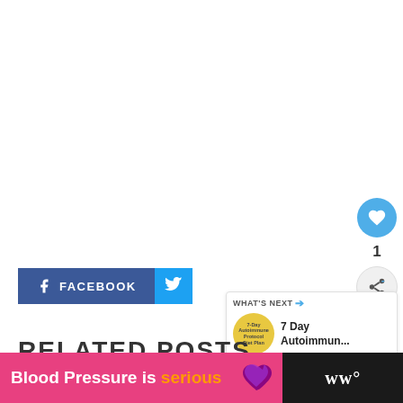[Figure (infographic): Social interaction buttons: blue heart/like button with count of 1, and a share button]
[Figure (infographic): Facebook and Twitter share buttons]
[Figure (infographic): What's Next widget showing '7 Day Autoimmun...' with circular badge image]
RELATED POSTS
[Figure (infographic): Bottom banner ad: 'Blood Pressure is serious' with heart graphic on dark background with pink section]